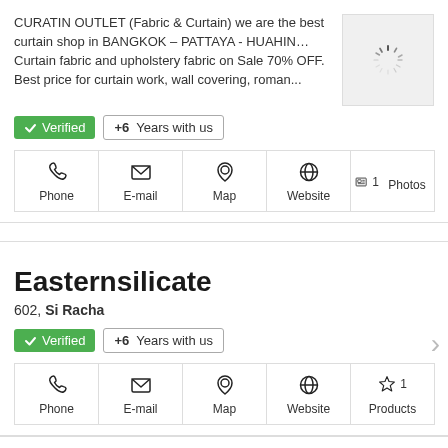CURATIN OUTLET (Fabric & Curtain) we are the best curtain shop in BANGKOK – PATTAYA - HUAHIN…Curtain fabric and upholstery fabric on Sale 70% OFF. Best price for curtain work, wall covering, roman...
✔ Verified  +6  Years with us
Phone
E-mail
Map
Website
1 Photos
Easternsilicate
602, Si Racha
✔ Verified  +6  Years with us
Phone
E-mail
Map
Website
1 Products
Anching (Thailand) Co.,LTD